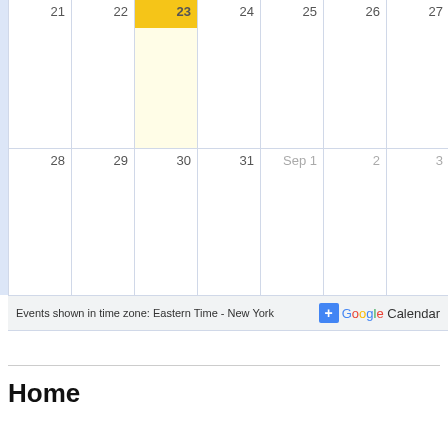[Figure (screenshot): Google Calendar monthly view showing weeks with dates 21-27 and 28-Sep 3. Date 23 is highlighted as today with a yellow/gold header and light yellow cell background. Footer shows 'Events shown in time zone: Eastern Time - New York' and Google Calendar badge.]
Events shown in time zone: Eastern Time - New York
Home